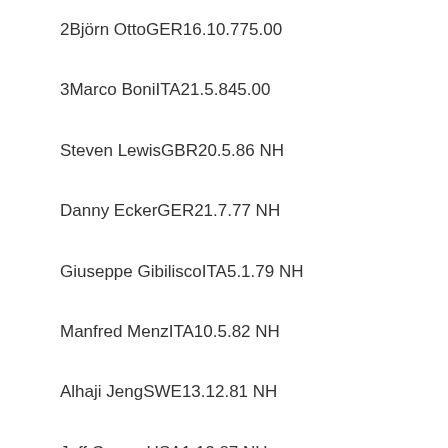2Bjorn OttoGER16.10.775.00
3Marco BoniITA21.5.845.00
Steven LewisGBR20.5.86 NH
Danny EckerGER21.7.77 NH
Giuseppe GibiliscoITA5.1.79 NH
Manfred MenzITA10.5.82 NH
Alhaji JengSWE13.12.81 NH
Jeff CooverUSA1.12.87 NH